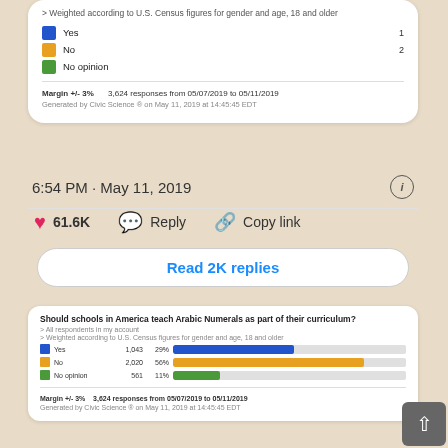> Weighted according to U.S. Census figures for gender and age, 18 and older
Yes  1
No  2
No opinion
Margin +/- 3%    3,624 responses from 05/07/2019 to 05/11/2019
Generated by Civic Science ® on May 11, 2019 at 14:45:45 EDT
6:54 PM · May 11, 2019
61.6K   Reply   Copy link
Read 2K replies
[Figure (bar-chart): Should schools in America teach Arabic Numerals as part of their curriculum?]